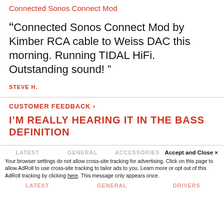Connected Sonos Connect Mod
“Connected Sonos Connect Mod by Kimber RCA cable to Weiss DAC this morning. Running TIDAL HiFi. Outstanding sound!”
STEVE H.
CUSTOMER FEEDBACK ›
I’M REALLY HEARING IT IN THE BASS DEFINITION
LATEST   GENERAL   ACCESSORIES
Accept and Close ×
Your browser settings do not allow cross-site tracking for advertising. Click on this page to allow AdRoll to use cross-site tracking to tailor ads to you. Learn more or opt out of this AdRoll tracking by clicking here. This message only appears once.